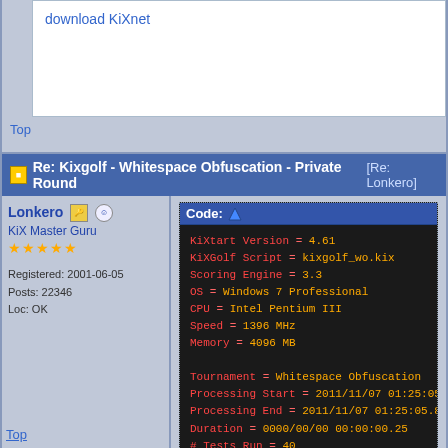download KiXnet
Top
Re: Kixgolf - Whitespace Obfuscation - Private Round [Re: Lonkero]
Lonkero
KiX Master Guru
☆☆☆☆☆
Registered: 2001-06-05
Posts: 22346
Loc: OK
Code:
KiXtart Version   = 4.61
KiXGolf Script    = kixgolf_wo.kix
Scoring Engine    = 3.3
OS                = Windows 7 Professional
CPU               = Intel Pentium III
Speed             = 1396 MHz
Memory            = 4096 MB

Tournament        = Whitespace Obfuscation
Processing Start  = 2011/11/07 01:25:05.64
Processing End    = 2011/11/07 01:25:05.89
Duration          = 0000/00/00 00:00:00.25
# Tests Run       = 40
# Tests Passed    = 40
# Tests Failed    = 0
Result            = Passed
KiXGolf Score     = 271
!
download KiXnet
Top